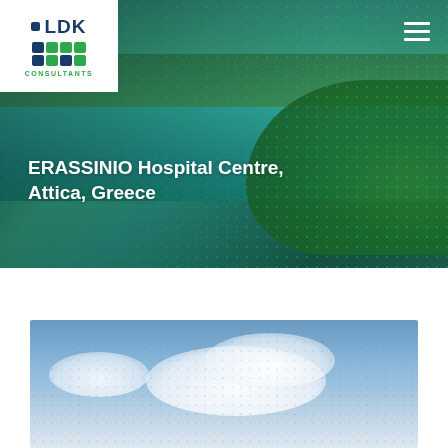[Figure (photo): LDK Consultants logo — white box with dark blue LDK text, 4x3 grid of colored squares (navy and green), CONSULTANTS text below in green]
[Figure (photo): Aerial view of city with water/lake, green trees and urban area, overlaid with teal/green tint and dot pattern]
ERASSINIO Hospital Centre, Attica, Greece
[Figure (photo): Photograph of blue sky with white clouds, with subtle dot overlay pattern]